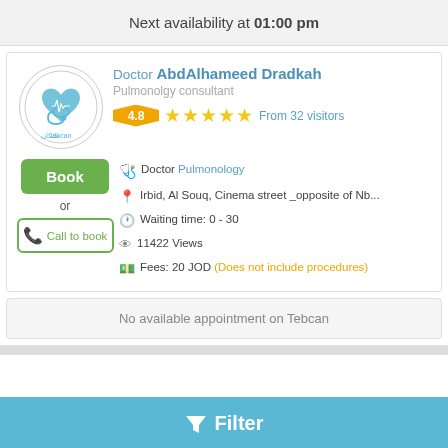Next availability at 01:00 pm
Doctor AbdAlhameed Dradkah
Pulmonolgy consultant
4.8 ★★★★★ From 32 visitors
Doctor Pulmonology
Irbid, Al Souq, Cinema street _opposite of Nb...
Waiting time: 0 - 30
11422 Views
Fees: 20 JOD (Does not include procedures)
No available appointment on Tebcan
Filter